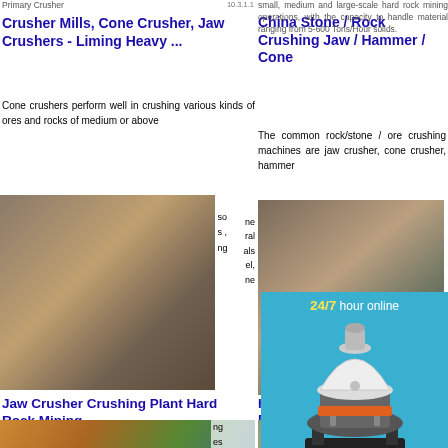[Figure (photo): Screenshot of search results showing mining crusher machines - left top result with image of jaw crusher]
Crusher Mills, Cone Crusher, Jaw Crushers - Liming Heavy ...
Primary Crusher
Cone crushers perform well in crushing various kinds of ores and rocks of medium or above
[Figure (photo): Image of jaw crusher machine at a mining/crushing plant site]
Jaw Crusher Crushing Plant Hard Rock Mining
2021-11-11 Supplied for Primary coarse crushing and secondary Fine crushing, within the rock reduction plant. Wide
[Figure (photo): Image of large jaw crusher/crushing plant equipment at mine site]
China Stone / Rock Crushing Jaw / Hammer / Cone
small, medium and large-scale hard rock mining operations, with the capacity to handle material ranging from 5-600 Tons/Hour solids.
The common rock/stone / ore crushing machines are jaw crusher, cone crusher, hammer
[Figure (photo): Image of jaw/cone crusher machine]
Hard Rock Crushing Equipment / Plants D...
WIDE RA... leader and... mining
[Figure (infographic): Advertisement overlay: 24/7 hour online chat widget with cone crusher image, Click me to chat>> button, Enquiry section, and limingjlmofen username]